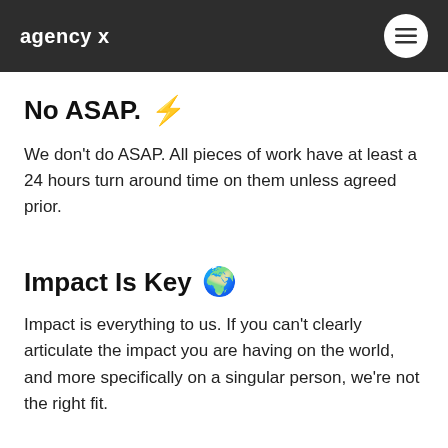agency x
No ASAP. ⚡
We don't do ASAP. All pieces of work have at least a 24 hours turn around time on them unless agreed prior.
Impact Is Key 🌍
Impact is everything to us. If you can't clearly articulate the impact you are having on the world, and more specifically on a singular person, we're not the right fit.